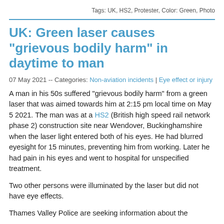Tags: UK, HS2, Protester, Color: Green, Photo
UK: Green laser causes "grievous bodily harm" in daytime to man
07 May 2021 -- Categories: Non-aviation incidents | Eye effect or injury
A man in his 50s suffered "grievous bodily harm" from a green laser that was aimed towards him at 2:15 pm local time on May 5 2021. The man was at a HS2 (British high speed rail network phase 2) construction site near Wendover, Buckinghamshire when the laser light entered both of his eyes. He had blurred eyesight for 15 minutes, preventing him from working. Later he had pain in his eyes and went to hospital for unspecified treatment.
Two other persons were illuminated by the laser but did not have eye effects.
Thames Valley Police are seeking information about the